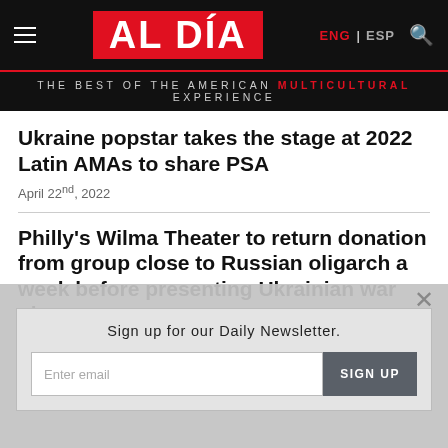AL DÍA — THE BEST OF THE AMERICAN MULTICULTURAL EXPERIENCE
Ukraine popstar takes the stage at 2022 Latin AMAs to share PSA
April 22nd, 2022
Philly's Wilma Theater to return donation from group close to Russian oligarch a week before presenting Ukrainian war play
Sign up for our Daily Newsletter.